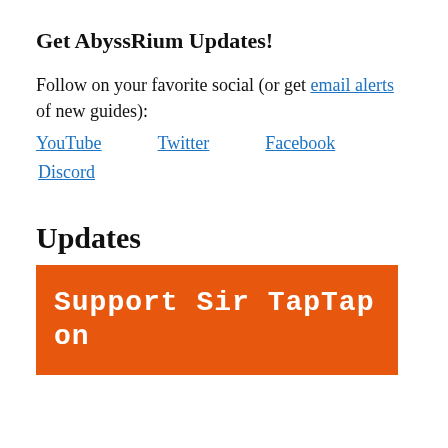Get AbyssRium Updates!
Follow on your favorite social (or get email alerts of new guides):
YouTube   Twitter   Facebook
Discord
Updates
[Figure (illustration): Orange banner with white bold monospace text reading 'Support Sir TapTap on']